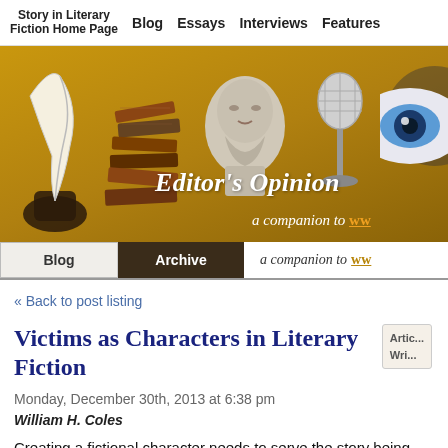Blog | Story in Literary Fiction Home Page | Essays | Interviews | Features
[Figure (illustration): Banner with golden/amber background showing: a white quill pen with inkwell, a stack of old books, a classical bust (Aristotle-style), a vintage microphone, and a partial eye through magnifying glass. Text overlay reads 'Editor's Opinion' in large italic serif font, with 'a companion to ww...' below.]
Blog | Archive | a companion to ww...
« Back to post listing
Victims as Characters in Literary Fiction
Monday, December 30th, 2013 at 6:38 pm
William H. Coles
Creating a fictional character needs to serve the story being told